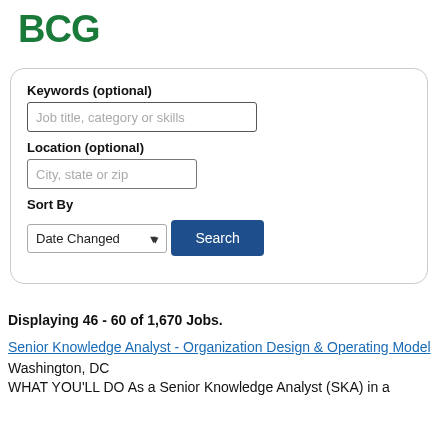[Figure (logo): BCG logo in bold dark green text]
Keywords (optional)
Job title, category or skills
Location (optional)
City, state or zip
Sort By
Date Changed
Search
Displaying 46 - 60 of 1,670 Jobs.
Senior Knowledge Analyst - Organization Design & Operating Model
Washington, DC
WHAT YOU'LL DO As a Senior Knowledge Analyst (SKA) in a